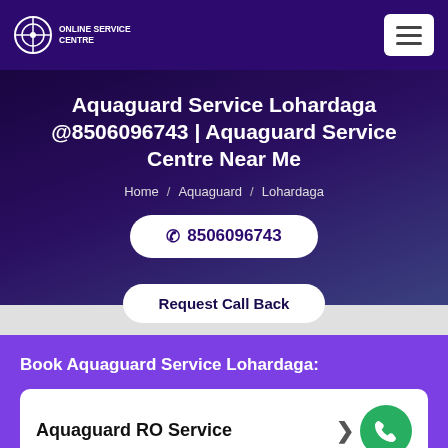[Figure (logo): Online Service Centre logo in navigation bar]
Aquaguard Service Lohardaga @8506096743 | Aquaguard Service Centre Near Me
Home / Aquaguard / Lohardaga
☎ 8506096743
Request Call Back
Book Aquaguard Service Lohardaga:
Aquaguard RO Service